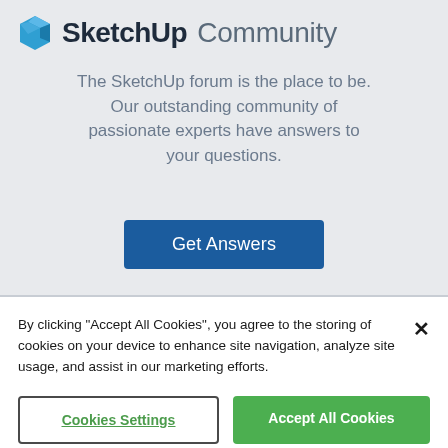[Figure (logo): SketchUp Community logo with hexagonal icon, bold 'SketchUp' text and light 'Community' text]
The SketchUp forum is the place to be. Our outstanding community of passionate experts have answers to your questions.
Get Answers
By clicking "Accept All Cookies", you agree to the storing of cookies on your device to enhance site navigation, analyze site usage, and assist in our marketing efforts.
Cookies Settings
Accept All Cookies